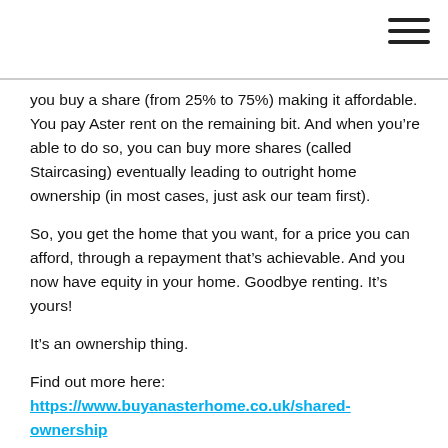[Figure (other): Hamburger menu icon (three horizontal lines) in top right corner]
you buy a share (from 25% to 75%) making it affordable. You pay Aster rent on the remaining bit. And when you’re able to do so, you can buy more shares (called Staircasing) eventually leading to outright home ownership (in most cases, just ask our team first).
So, you get the home that you want, for a price you can afford, through a repayment that’s achievable. And you now have equity in your home. Goodbye renting. It’s yours!
It’s an ownership thing.
Find out more here: https://www.buyanasterhome.co.uk/shared-ownership
Contact: 0330 333 4579